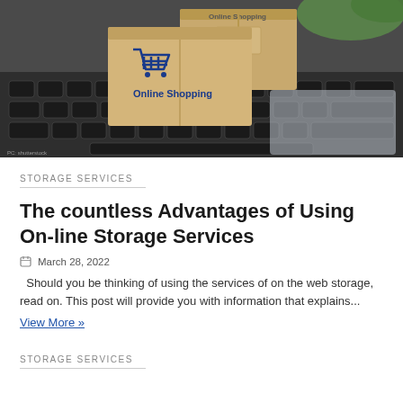[Figure (photo): Photo of cardboard boxes labeled 'Online Shopping' with a shopping cart logo, stacked on a laptop keyboard]
STORAGE SERVICES
The countless Advantages of Using On-line Storage Services
March 28, 2022
Should you be thinking of using the services of on the web storage, read on. This post will provide you with information that explains...
View More »
STORAGE SERVICES